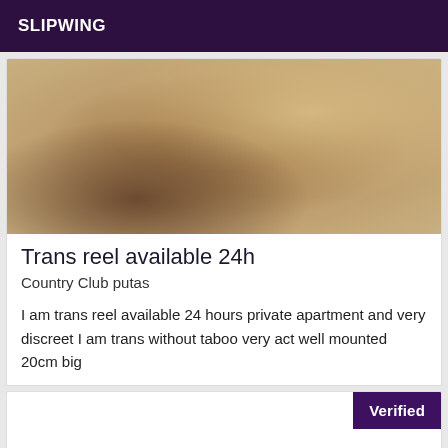SLIPWING
[Figure (photo): Photo of a person's torso wearing a studded white top and denim shorts]
Trans reel available 24h
Country Club putas
I am trans reel available 24 hours private apartment and very discreet I am trans without taboo very act well mounted 20cm big
Verified